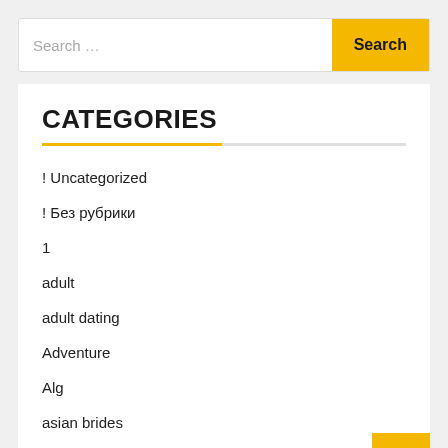[Figure (screenshot): Search bar with text input placeholder 'Search ...' and a yellow 'Search' button]
CATEGORIES
! Uncategorized
! Без рубрики
1
adult
adult dating
Adventure
Alg
asian brides
Beach & Hotels